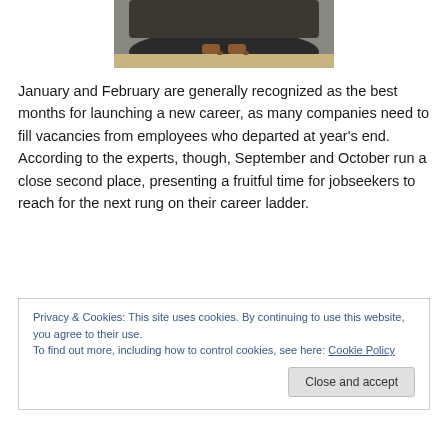[Figure (photo): Partial photo of a person sitting on a curved dark sofa/bench, showing only their legs in dark trousers and brown leather shoes, with a light wooden floor visible below.]
January and February are generally recognized as the best months for launching a new career, as many companies need to fill vacancies from employees who departed at year’s end. According to the experts, though, September and October run a close second place, presenting a fruitful time for jobseekers to reach for the next rung on their career ladder.
Privacy & Cookies: This site uses cookies. By continuing to use this website, you agree to their use.
To find out more, including how to control cookies, see here: Cookie Policy
Close and accept